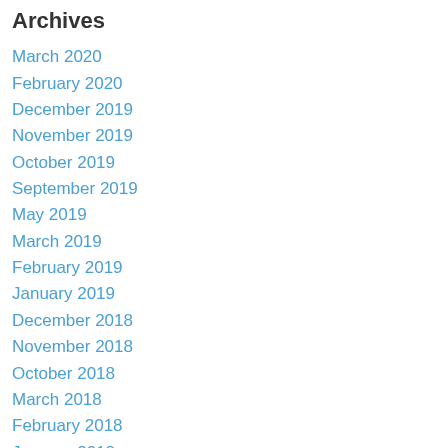Archives
March 2020
February 2020
December 2019
November 2019
October 2019
September 2019
May 2019
March 2019
February 2019
January 2019
December 2018
November 2018
October 2018
March 2018
February 2018
January 2018
December 2017
November 2017
August 2017
February 2017